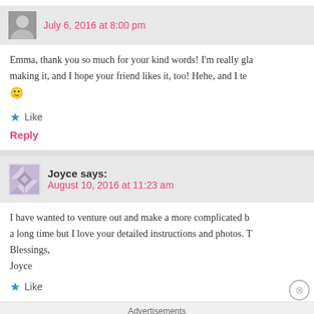July 6, 2016 at 8:00 pm
Emma, thank you so much for your kind words! I'm really glad making it, and I hope your friend likes it, too! Hehe, and I te 🙂
Like
Reply
Joyce says:
August 10, 2016 at 11:23 am
I have wanted to venture out and make a more complicated b a long time but I love your detailed instructions and photos. T Blessings, Joyce
Like
Advertisements
[Figure (logo): WordPress VIP logo with WP circle icon and 'vip' text]
[Figure (other): Advertisement banner with gradient orange/pink/purple background and Learn more button]